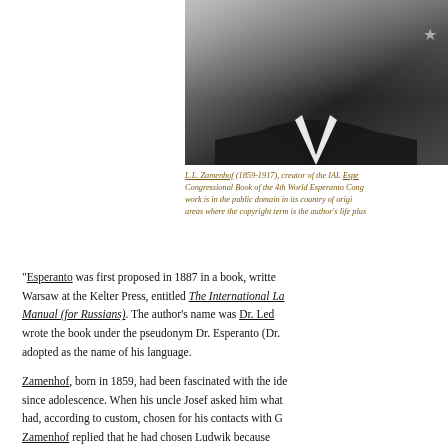[Figure (photo): Black and white photograph of L.L. Zamenhof, showing his torso and lower face, wearing a dark jacket with a white collar/tie, with a star emblem visible on the upper right of his jacket.]
L.L. Zamenhof (1859-1917), creator of the IAL Esperanto. Congressional Book of the 4th World Esperanto Congress. This work is in the public domain in its country of origin and other areas where the copyright term is the author's life plus
“Esperanto was first proposed in 1887 in a book, written in Warsaw at the Kelter Press, entitled The International Language Manual (for Russians). The author’s name was Dr. Ledger... wrote the book under the pseudonym Dr. Esperanto (Dr... adopted as the name of his language.
Zamenhof, born in 1859, had been fascinated with the idea... since adolescence. When his uncle Josef asked him what... had, according to custom, chosen for his contacts with G... Zamenhof replied that he had chosen Ludwik because...